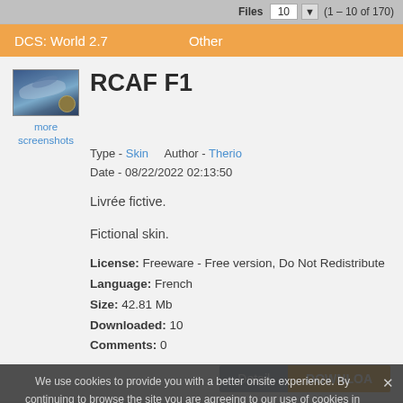Files  10  (1 – 10 of 170)
DCS: World 2.7    Other
RCAF F1
[Figure (photo): Thumbnail of a fighter jet aircraft with a gold/bronze badge overlay]
more screenshots
Type - Skin    Author - Therio
Date - 08/22/2022 02:13:50
Livrée fictive.

Fictional skin.
License: Freeware - Free version, Do Not Redistribute
Language: French
Size: 42.81 Mb
Downloaded: 10
Comments: 0
We use cookies to provide you with a better onsite experience. By continuing to browse the site you are agreeing to our use of cookies in accordance with our Cookie Policy.